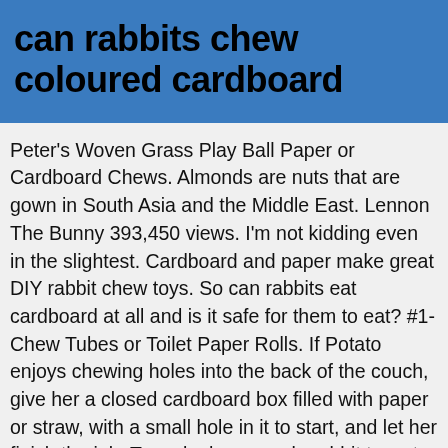can rabbits chew coloured cardboard
Peter's Woven Grass Play Ball Paper or Cardboard Chews. Almonds are nuts that are gown in South Asia and the Middle East. Lennon The Bunny 393,450 views. I'm not kidding even in the slightest. Cardboard and paper make great DIY rabbit chew toys. So can rabbits eat cardboard at all and is it safe for them to eat? #1- Chew Tubes or Toilet Paper Rolls. If Potato enjoys chewing holes into the back of the couch, give her a closed cardboard box filled with paper or straw, with a small hole in it to start, and let her finish the job. To make homemade rabbit toys, try giving your rabbit pine cones and tree branches to chew on. You can buy wooden chew blocks from pet shops for them, or cut branches from fruit trees for them to chew...make sure they haven't been sprayed with pesticides. Cardboard and paper will not help wear